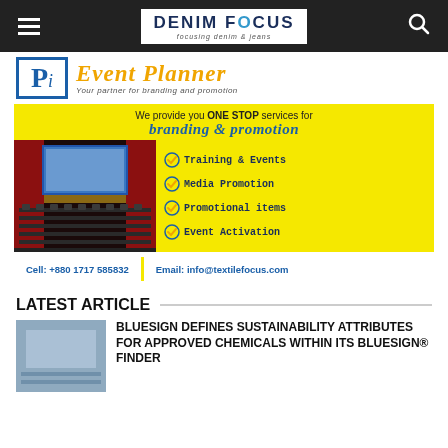DENIM FOCUS focusing denim & jeans
[Figure (logo): Event Planner logo with 'Pi' letters in blue box, 'Event Planner' in gold italic script, tagline 'Your partner for branding and promotion']
[Figure (infographic): Yellow advertisement banner for Event Planner. Text: 'We provide you ONE STOP services for branding & promotion'. Services listed: Training & Events, Media Promotion, Promotional items, Event Activation. Contact: Cell: +880 1717 585832, Email: info@textilefocus.com]
LATEST ARTICLE
BLUESIGN DEFINES SUSTAINABILITY ATTRIBUTES FOR APPROVED CHEMICALS WITHIN ITS BLUESIGN® FINDER